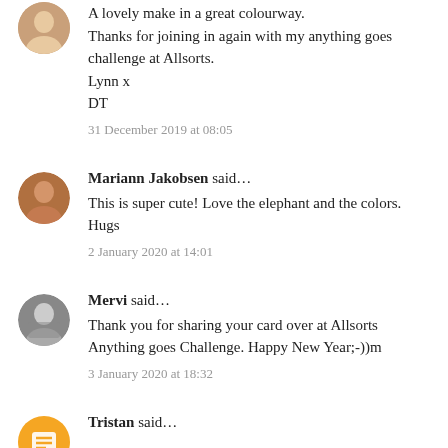A lovely make in a great colourway.
Thanks for joining in again with my anything goes challenge at Allsorts.
Lynn x
DT
31 December 2019 at 08:05
Mariann Jakobsen said…
This is super cute! Love the elephant and the colors. Hugs
2 January 2020 at 14:01
Mervi said…
Thank you for sharing your card over at Allsorts Anything goes Challenge. Happy New Year;-))m
3 January 2020 at 18:32
Tristan said…